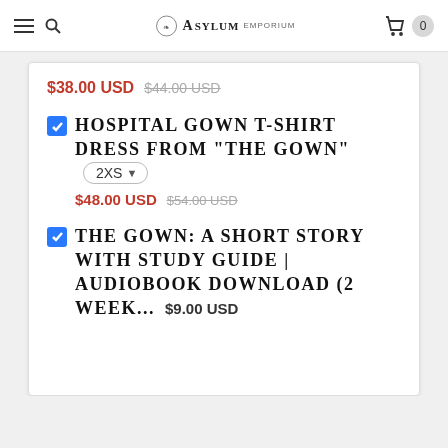Asylum Emporium — navigation header with logo, search, and cart (0 items)
$38.00 USD  $44.00 USD (strikethrough)
HOSPITAL GOWN T-SHIRT DRESS FROM "THE GOWN"  2XS  $48.00 USD  $54.00 USD (strikethrough)
THE GOWN: A SHORT STORY WITH STUDY GUIDE | AUDIOBOOK DOWNLOAD (2 WEEK...  $9.00 USD